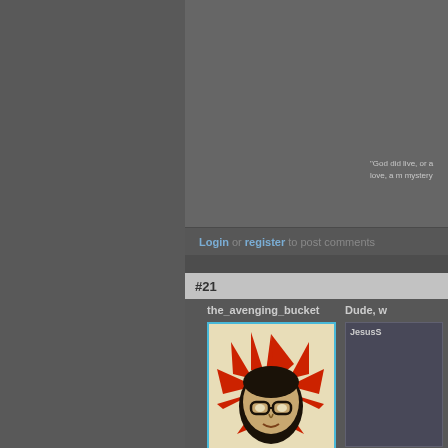[Figure (screenshot): Dark gray website interface showing a comment section. Upper portion has a large gray content block with partial quote text visible at right edge. A login bar reads 'Login or register to post comments'. Below is comment #21 with username 'the_avenging_bucket' and a stylized avatar image (red and cream starburst/rising sun pattern with a face in glasses). To the right is partial text 'Dude, w...' and a box labeled 'JesusS'.]
"God did live, or a love, a m mystery
Login or register to post comments
#21
the_avenging_bucket
Dude, w
JesusS